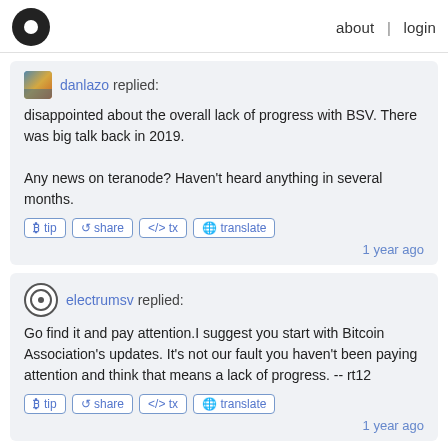about | login
danlazo replied:
disappointed about the overall lack of progress with BSV. There was big talk back in 2019.

Any news on teranode? Haven't heard anything in several months.
1 year ago
electrumsv replied:
Go find it and pay attention.I suggest you start with Bitcoin Association's updates. It's not our fault you haven't been paying attention and think that means a lack of progress. -- rt12
1 year ago
danlazo replied:
Now I'm disappointed I haven't been paying attention.